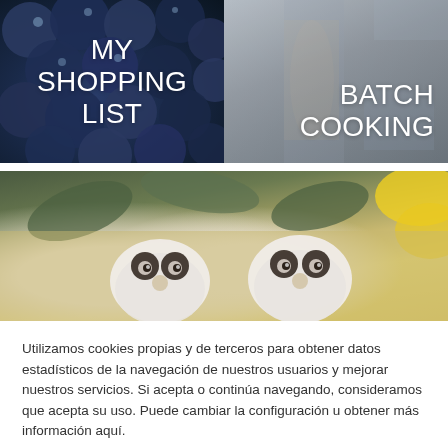[Figure (photo): Photo of blueberries with 'MY SHOPPING LIST' text overlay in white]
[Figure (photo): Photo of kitchen/person with 'BATCH COOKING' text overlay in white]
[Figure (photo): Photo of cute panda-shaped cookies/desserts on a wooden surface with green leaves and yellow flowers]
Utilizamos cookies propias y de terceros para obtener datos estadísticos de la navegación de nuestros usuarios y mejorar nuestros servicios. Si acepta o continúa navegando, consideramos que acepta su uso. Puede cambiar la configuración u obtener más información aquí.
Ajustes de cookies
Aceptar